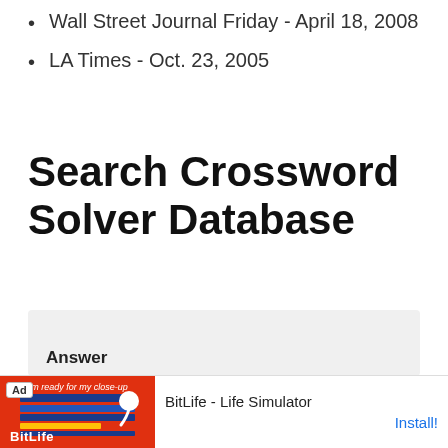Wall Street Journal Friday - April 18, 2008
LA Times - Oct. 23, 2005
Search Crossword Solver Database
[Figure (screenshot): Web form with Answer label and ANSWER placeholder input field, and a tip text partially visible]
[Figure (other): Ad banner for BitLife - Life Simulator with Install button]